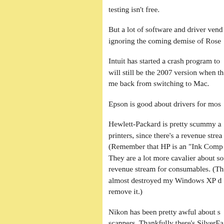testing isn't free.

But a lot of software and driver vendors are ignoring the coming demise of Rose

Intuit has started a crash program to will still be the 2007 version when the me back from switching to Mac.

Epson is good about drivers for most

Hewlett-Packard is pretty scummy a printers, since there's a revenue stream (Remember that HP is an "Ink Company". They are a lot more cavalier about so revenue stream for consumables. (The almost destroyed my Windows XP d remove it.)

Nikon has been pretty awful about s scanners. Thankfully there's SilverFa like. But buying a second license fo